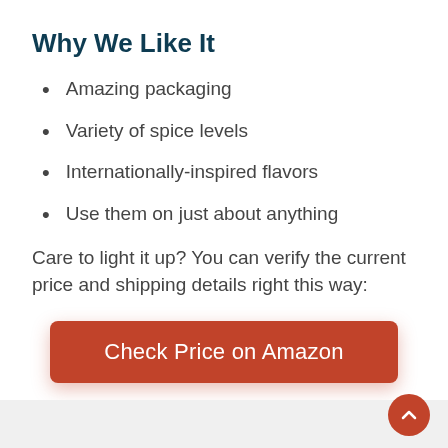Why We Like It
Amazing packaging
Variety of spice levels
Internationally-inspired flavors
Use them on just about anything
Care to light it up? You can verify the current price and shipping details right this way:
[Figure (other): Orange-red button labeled 'Check Price on Amazon']